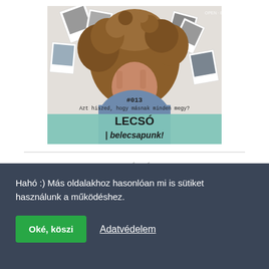[Figure (illustration): Podcast cover image showing a person with curly hair lying down covering their face with their hands, surrounded by polaroid photos. Text overlay reads '#013 Azt hiszed, hogy másnak minden megy? LECSÓ | belecsapunk!' with a teal/green banner at the bottom.]
BELÉPÉS
Felhasználónév
Hahó :) Más oldalakhoz hasonlóan mi is sütiket használunk a működéshez.
Oké, köszi
Adatvédelem